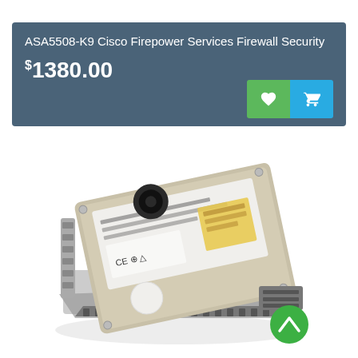ASA5508-K9 Cisco Firepower Services Firewall Security
$1380.00
[Figure (photo): Hard disk drive in a server tray/caddy, angled view showing the silver metallic drive with white label, CE certification marks, and a black circular port. The drive is seated in a gray metal hot-swap server tray.]